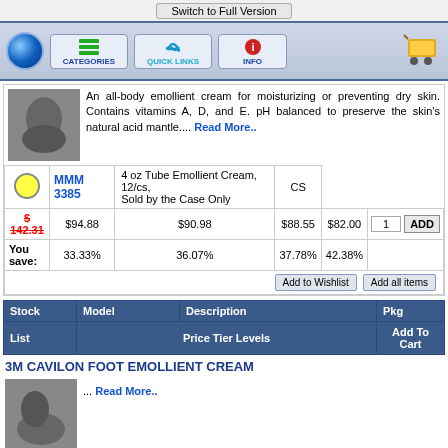Switch to Full Version
[Figure (screenshot): Navigation bar with blue ball, CATEGORIES, QUICK LINKS, INFO buttons and shopping cart icon]
[Figure (photo): Product image for emollient cream]
An all-body emollient cream for moisturizing or preventing dry skin. Contains vitamins A, D, and E. pH balanced to preserve the skin's natural acid mantle.... Read More..
| Stock | Model | Description | Pkg |
| --- | --- | --- | --- |
| [yellow circle] | MMM 3385 | 4 oz Tube Emollient Cream, 12/cs, Sold by the Case Only | CS |
| $ 142.31 | $94.88 | $90.98 | $88.55 | $82.00 | 1 ADD |
| You save: | 33.33% | 36.07% | 37.78% | 42.38% |  |
| Stock | Model | Description | Pkg |
| --- | --- | --- | --- |
| List | Price Tier Levels |  | Add To Cart |
3M CAVILON FOOT EMOLLIENT CREAM
[Figure (photo): Product image for foot emollient cream]
... Read More..
| Stock | Model | Description | Pkg |
| --- | --- | --- | --- |
| [green circle] | MMM 3386 | 4 oz Tube, Foot Cream, 12/cs | CS |